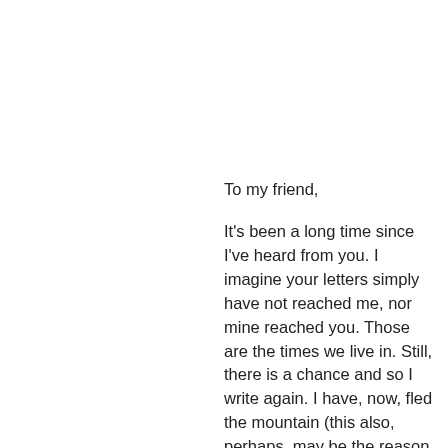To my friend,
It's been a long time since I've heard from you. I imagine your letters simply have not reached me, nor mine reached you. Those are the times we live in. Still, there is a chance and so I write again. I have, now, fled the mountain (this also, perhaps, may be the reason I have not received your letters). It felt as if it was no longer safe, though safety and isolation